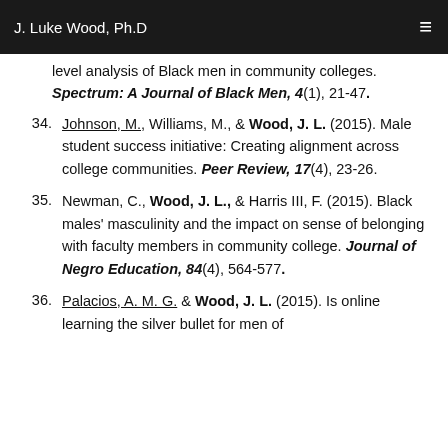J. Luke Wood, Ph.D
level analysis of Black men in community colleges. Spectrum: A Journal of Black Men, 4(1), 21-47.
34. Johnson, M., Williams, M., & Wood, J. L. (2015). Male student success initiative: Creating alignment across college communities. Peer Review, 17(4), 23-26.
35. Newman, C., Wood, J. L., & Harris III, F. (2015). Black males' masculinity and the impact on sense of belonging with faculty members in community college. Journal of Negro Education, 84(4), 564-577.
36. Palacios, A. M. G. & Wood, J. L. (2015). Is online learning the silver bullet for men of